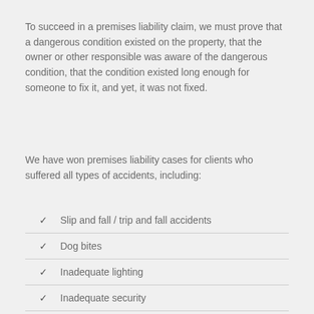To succeed in a premises liability claim, we must prove that a dangerous condition existed on the property, that the owner or other responsible was aware of the dangerous condition, that the condition existed long enough for someone to fix it, and yet, it was not fixed.
We have won premises liability cases for clients who suffered all types of accidents, including:
Slip and fall / trip and fall accidents
Dog bites
Inadequate lighting
Inadequate security